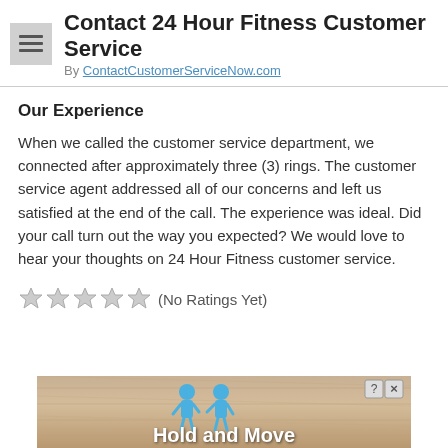Contact 24 Hour Fitness Customer Service
By ContactCustomerServiceNow.com
Our Experience
When we called the customer service department, we connected after approximately three (3) rings. The customer service agent addressed all of our concerns and left us satisfied at the end of the call. The experience was ideal. Did your call turn out the way you expected? We would love to hear your thoughts on 24 Hour Fitness customer service.
★★★★★ (No Ratings Yet)
[Figure (screenshot): Advertisement banner showing two blue cartoon figures and text 'Hold and Move' with a question mark and close button in the top right corner, set against a wooden-textured background.]